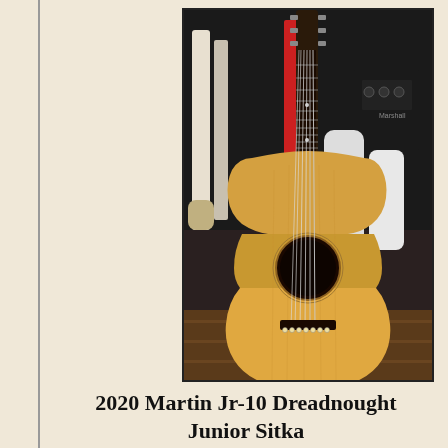[Figure (photo): Acoustic guitar (Martin Jr-10 Dreadnought Junior) displayed in a music store, surrounded by other guitars and equipment in the background. The guitar has a natural spruce top, dreadnought body shape, and is shown in an upright position.]
2020 Martin Jr-10 Dreadnought Junior Sitka